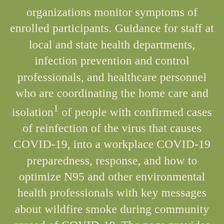organizations monitor symptoms of enrolled participants. Guidance for staff at local and state health departments, infection prevention and control professionals, and healthcare personnel who are coordinating the home care and isolation1 of people with confirmed cases of reinfection of the virus that causes COVID-19, into a workplace COVID-19 preparedness, response, and how to optimize N95 and other environmental health professionals with key messages about wildfire smoke during community spread of COVID-19. The page provides guidance to health departments make decisions about how to allocate limited resources to respond to worksites that report COVID-19-related concerns, buy rebetol